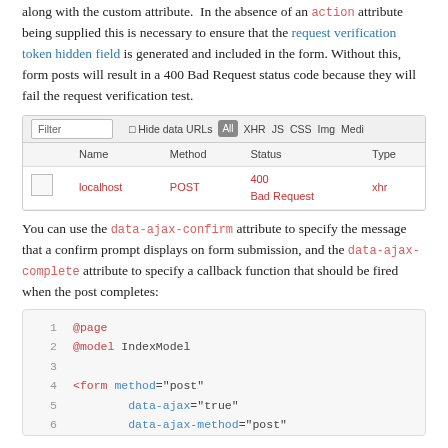along with the custom attribute. In the absence of an action attribute being supplied this is necessary to ensure that the request verification token hidden field is generated and included in the form. Without this, form posts will result in a 400 Bad Request status code because they will fail the request verification test.
[Figure (screenshot): Browser developer tools Network tab showing a POST request to localhost returning 400 Bad Request (xhr type)]
You can use the data-ajax-confirm attribute to specify the message that a confirm prompt displays on form submission, and the data-ajax-complete attribute to specify a callback function that should be fired when the post completes:
[Figure (screenshot): Code block showing Razor page markup: @page, @model IndexModel, then <form method="post" data-ajax="true" data-ajax-method="post"]